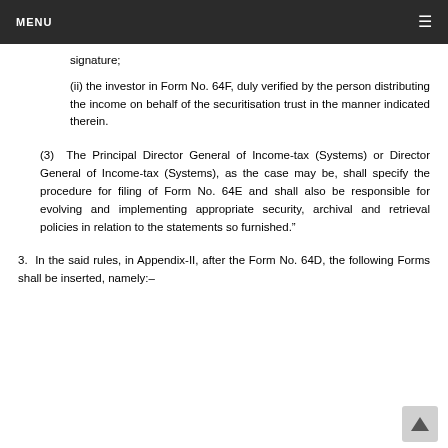MENU
(ii) the investor in Form No. 64F, duly verified by the person distributing the income on behalf of the securitisation trust in the manner indicated therein.
(3) The Principal Director General of Income-tax (Systems) or Director General of Income-tax (Systems), as the case may be, shall specify the procedure for filing of Form No. 64E and shall also be responsible for evolving and implementing appropriate security, archival and retrieval policies in relation to the statements so furnished."
3. In the said rules, in Appendix-II, after the Form No. 64D, the following Forms shall be inserted, namely:–